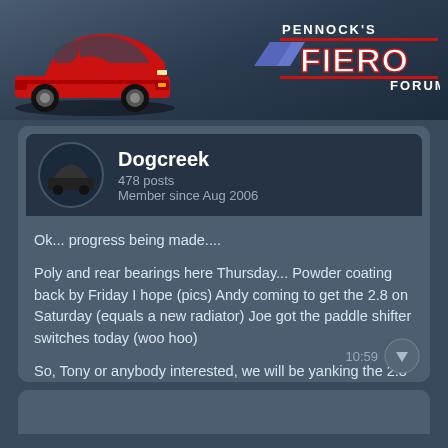Pennock's Fiero Forum
Dogcreek
478 posts
Member since Aug 2006
Ok... progress being made....
Poly and rear bearings here Thursday... Powder coating back by Friday I hope (pics) Andy coming to get the 2.8 on Saturday (equals a new radiator) Joe got the paddle shifter switches today (woo hoo)
So, Tony or anybody interested, we will be yanking the 2.8 Saturday (Tony I will call you back, I promise)
Now (me).... take deep breaths... It is all coming together!
Jeff
10:59